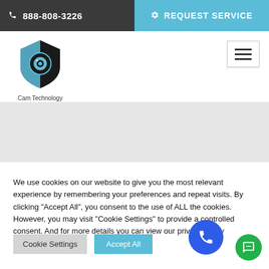888-808-3226 | REQUEST SERVICE
[Figure (logo): Cam Technology logo — shield shape with camera eye icon, black and blue, with text 'Cam Technology' below]
[Figure (other): Gray banner/hero image placeholder area]
We use cookies on our website to give you the most relevant experience by remembering your preferences and repeat visits. By clicking "Accept All", you consent to the use of ALL the cookies. However, you may visit "Cookie Settings" to provide a controlled consent. And for more details you can view our privacy policy
Cookie Settings | Accept All